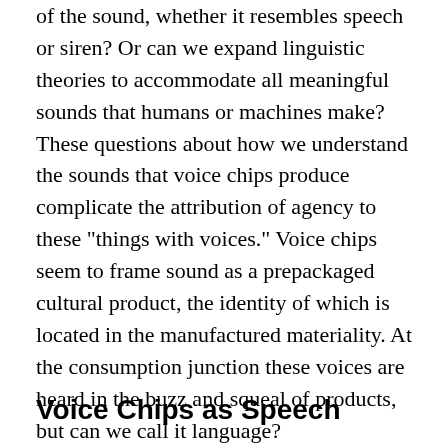of the sound, whether it resembles speech or siren? Or can we expand linguistic theories to accommodate all meaningful sounds that humans or machines make? These questions about how we understand the sounds that voice chips produce complicate the attribution of agency to these "things with voices." Voice chips seem to frame sound as a prepackaged cultural product, the identity of which is located in the manufactured materiality. At the consumption junction these voices are heard in the buzz and squeal of products, but can we call it language?
Voice Chips as Speech